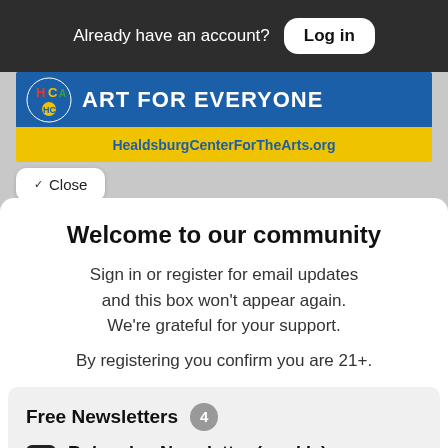Already have an account? Log in
[Figure (photo): Healdsburg Center For The Arts advertisement banner: blue background with HCA logo and 'ART FOR EVERYONE' text, yellow bar with 'HealdsburgCenterForTheArts.org']
Close
Welcome to our community
Sign in or register for email updates and this box won't appear again. We're grateful for your support.
By registering you confirm you are 21+.
Free Newsletters 4
Bohemian Newsletter (weekly) — News stories, arts and dining